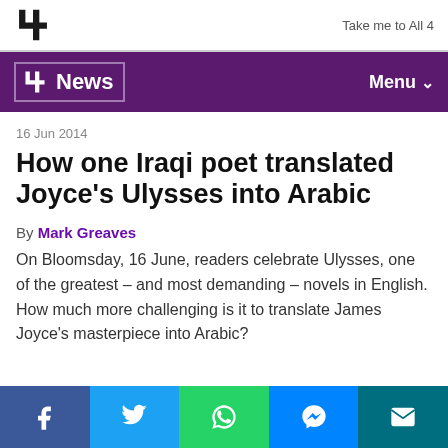Take me to All 4
News | Menu
16 Jun 2014
How one Iraqi poet translated Joyce's Ulysses into Arabic
By Mark Greaves
On Bloomsday, 16 June, readers celebrate Ulysses, one of the greatest – and most demanding – novels in English. How much more challenging is it to translate James Joyce's masterpiece into Arabic?